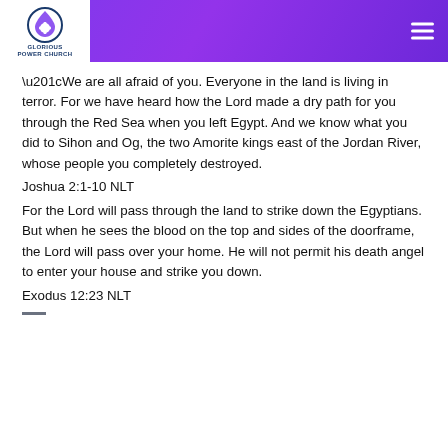[Figure (logo): Glorious Power Church logo with flame/drop icon on white background in top left corner of purple gradient header bar]
“We are all afraid of you. Everyone in the land is living in terror. For we have heard how the Lord made a dry path for you through the Red Sea when you left Egypt. And we know what you did to Sihon and Og, the two Amorite kings east of the Jordan River, whose people you completely destroyed.
Joshua 2:1-10 NLT
For the Lord will pass through the land to strike down the Egyptians. But when he sees the blood on the top and sides of the doorframe, the Lord will pass over your home. He will not permit his death angel to enter your house and strike you down.
Exodus 12:23 NLT